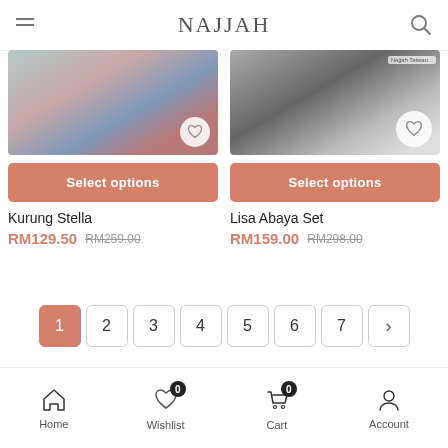NAJJAH
[Figure (screenshot): Product listing showing two items: Kurung Stella and Lisa Abaya Set with Select options buttons]
Kurung Stella
RM129.50 RM259.00
Lisa Abaya Set
RM159.00 RM298.00
Pagination: 1 2 3 4 5 6 7 >
Home | Wishlist 0 | Cart 0 | Account